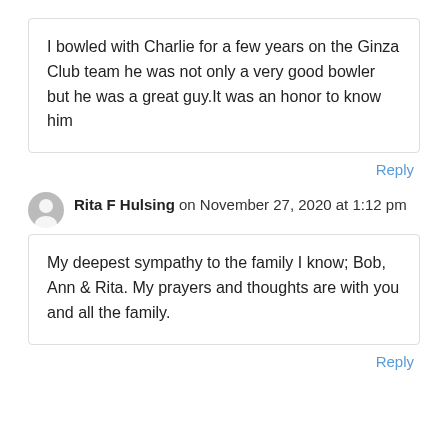I bowled with Charlie for a few years on the Ginza Club team he was not only a very good bowler but he was a great guy.It was an honor to know him
Reply
Rita F Hulsing on November 27, 2020 at 1:12 pm
My deepest sympathy to the family I know; Bob, Ann & Rita. My prayers and thoughts are with you and all the family.
Reply